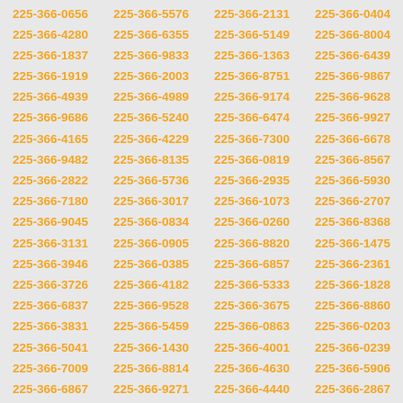| 225-366-0656 | 225-366-5576 | 225-366-2131 | 225-366-0404 |
| 225-366-4280 | 225-366-6355 | 225-366-5149 | 225-366-8004 |
| 225-366-1837 | 225-366-9833 | 225-366-1363 | 225-366-6439 |
| 225-366-1919 | 225-366-2003 | 225-366-8751 | 225-366-9867 |
| 225-366-4939 | 225-366-4989 | 225-366-9174 | 225-366-9628 |
| 225-366-9686 | 225-366-5240 | 225-366-6474 | 225-366-9927 |
| 225-366-4165 | 225-366-4229 | 225-366-7300 | 225-366-6678 |
| 225-366-9482 | 225-366-8135 | 225-366-0819 | 225-366-8567 |
| 225-366-2822 | 225-366-5736 | 225-366-2935 | 225-366-5930 |
| 225-366-7180 | 225-366-3017 | 225-366-1073 | 225-366-2707 |
| 225-366-9045 | 225-366-0834 | 225-366-0260 | 225-366-8368 |
| 225-366-3131 | 225-366-0905 | 225-366-8820 | 225-366-1475 |
| 225-366-3946 | 225-366-0385 | 225-366-6857 | 225-366-2361 |
| 225-366-3726 | 225-366-4182 | 225-366-5333 | 225-366-1828 |
| 225-366-6837 | 225-366-9528 | 225-366-3675 | 225-366-8860 |
| 225-366-3831 | 225-366-5459 | 225-366-0863 | 225-366-0203 |
| 225-366-5041 | 225-366-1430 | 225-366-4001 | 225-366-0239 |
| 225-366-7009 | 225-366-8814 | 225-366-4630 | 225-366-5906 |
| 225-366-6867 | 225-366-9271 | 225-366-4440 | 225-366-2867 |
| 225-366-9624 | 225-366-0633 | 225-366-0817 | 225-366-7256 |
| 225-366-9140 | 225-366-0431 | 225-366-1087 | 225-366-9237 |
| 225-366-0330 | 225-366-0011 | 225-366-8935 | 225-366-1113 |
| 225-366-9317 | 225-366-5482 | 225-366-2071 | 225-366-5779 |
| 225-366-5473 | 225-366-9969 | 225-366-9673 | 225-366-9233 |
| 225-366-3889 | 225-366-9760 | 225-366-2548 | 225-366-4890 |
| 225-366-2268 | 225-366-2378 | 225-366-7622 | 225-366-9944 |
| 225-366-3137 | 225-366-1906 | 225-366-2957 | 225-366-3580 |
| 225-366-4656 | 225-366-3116 | 225-366-5508 | 225-366-7805 |
| 225-366-1945 | 225-366-5315 | 225-366-3287 | 225-366-0196 |
| 225-366-5150 | 225-366-0691 | 225-366-1238 | 225-366-3175 |
| 225-366-7244 | 225-366-2006 | 225-366-5066 | 225-366-7056 |